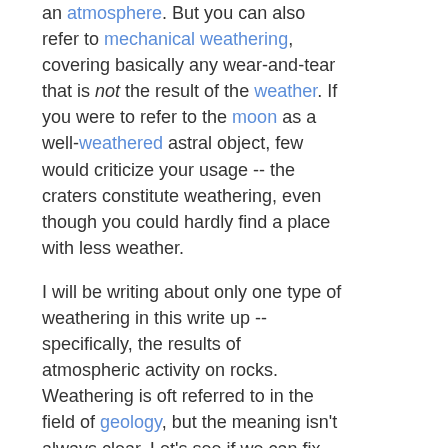an atmosphere. But you can also refer to mechanical weathering, covering basically any wear-and-tear that is not the result of the weather. If you were to refer to the moon as a well-weathered astral object, few would criticize your usage -- the craters constitute weathering, even though you could hardly find a place with less weather.
I will be writing about only one type of weathering in this write up -- specifically, the results of atmospheric activity on rocks. Weathering is oft referred to in the field of geology, but the meaning isn't always clear. Let's see if we can fix that.